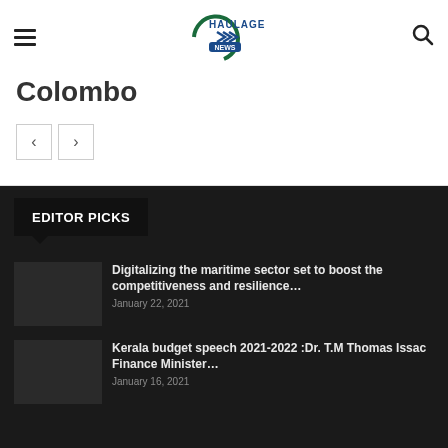Haulage News
Colombo
EDITOR PICKS
Digitalizing the maritime sector set to boost the competitiveness and resilience… January 22, 2021
Kerala budget speech 2021-2022 :Dr. T.M Thomas Issac Finance Minister… January 16, 2021